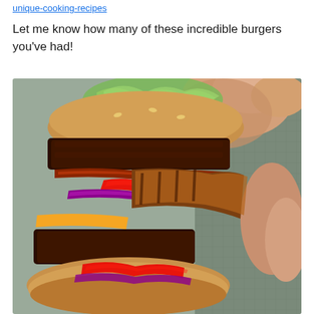unique-cooking-recipes
Let me know how many of these incredible burgers you've had!
[Figure (photo): Close-up photo of a hand holding a large layered burger showing thick patties, melted cheese, bacon, red pepper strips, red onion, tomato, and lettuce.]